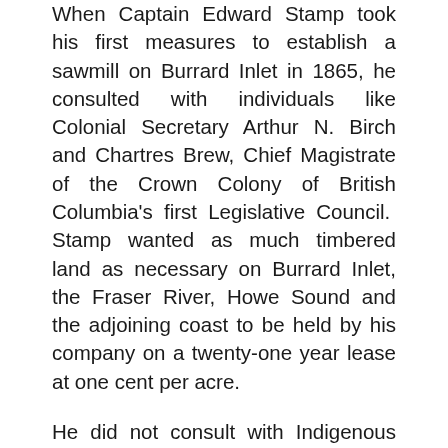When Captain Edward Stamp took his first measures to establish a sawmill on Burrard Inlet in 1865, he consulted with individuals like Colonial Secretary Arthur N. Birch and Chartres Brew, Chief Magistrate of the Crown Colony of British Columbia’s first Legislative Council.  Stamp wanted as much timbered land as necessary on Burrard Inlet, the Fraser River, Howe Sound and the adjoining coast to be held by his company on a twenty-one year lease at one cent per acre.
He did not consult with Indigenous members of the Squamish, Musqueam, or Tsleil-Waututh communities, who had lived a well-ordered life in the region since time immemorial.
Stamp’s logging crews began cutting down vast